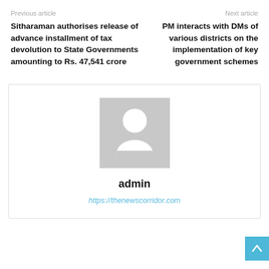Previous article
Next article
Sitharaman authorises release of advance installment of tax devolution to State Governments amounting to Rs. 47,541 crore
PM interacts with DMs of various districts on the implementation of key government schemes
[Figure (illustration): Grey placeholder avatar icon with silhouette of a person, used as default author profile picture]
admin
https://thenewscorridor.com